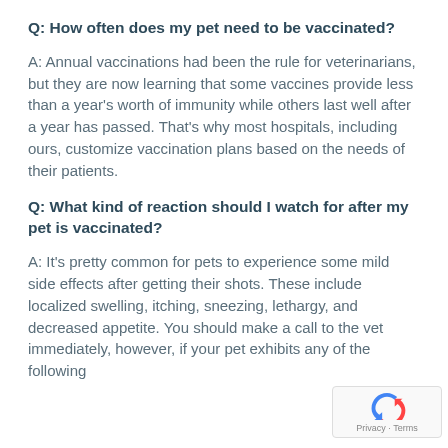Q: How often does my pet need to be vaccinated?
A: Annual vaccinations had been the rule for veterinarians, but they are now learning that some vaccines provide less than a year's worth of immunity while others last well after a year has passed. That's why most hospitals, including ours, customize vaccination plans based on the needs of their patients.
Q: What kind of reaction should I watch for after my pet is vaccinated?
A: It's pretty common for pets to experience some mild side effects after getting their shots. These include localized swelling, itching, sneezing, lethargy, and decreased appetite. You should make a call to the vet immediately, however, if your pet exhibits any of the following
[Figure (logo): reCAPTCHA logo with Privacy and Terms text]